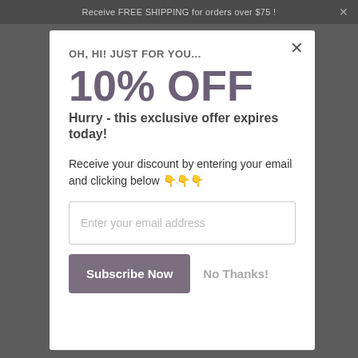Receive FREE SHIPPING for orders over $75 !
OH, HI! JUST FOR YOU...
10% OFF
Hurry - this exclusive offer expires today!
Receive your discount by entering your email and clicking below 👇👇👇
Enter your email address
Subscribe Now
No Thanks!